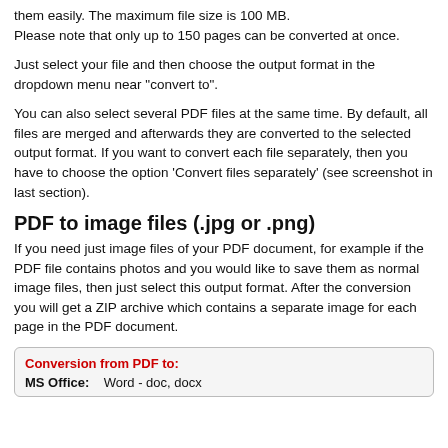them easily. The maximum file size is 100 MB.
Please note that only up to 150 pages can be converted at once.
Just select your file and then choose the output format in the dropdown menu near "convert to".
You can also select several PDF files at the same time. By default, all files are merged and afterwards they are converted to the selected output format. If you want to convert each file separately, then you have to choose the option 'Convert files separately' (see screenshot in last section).
PDF to image files (.jpg or .png)
If you need just image files of your PDF document, for example if the PDF file contains photos and you would like to save them as normal image files, then just select this output format. After the conversion you will get a ZIP archive which contains a separate image for each page in the PDF document.
| Conversion from PDF to: |  |
| --- | --- |
| MS Office: | Word - doc, docx |